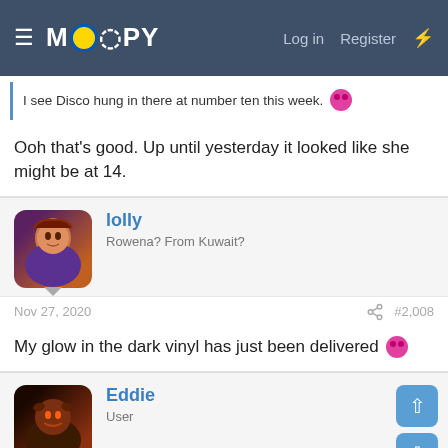MOOPY — Log in  Register
I see Disco hung in there at number ten this week. 😶
Ooh that's good. Up until yesterday it looked like she might be at 14.
lolly
Rowena? From Kuwait?
Nov 27, 2020   #2,008
My glow in the dark vinyl has just been delivered 😶
Eddie
User
Nov 27, 2020   #2,009